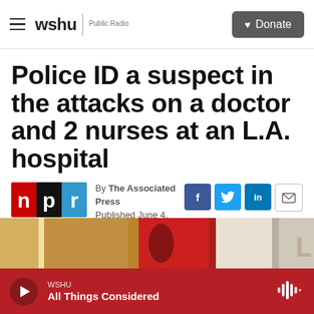wshu | Public Radio — Donate
Police ID a suspect in the attacks on a doctor and 2 nurses at an L.A. hospital
By The Associated Press
Published June 4, 2022 at 4:31 AM EDT
[Figure (photo): NPR logo (red, black, blue squares with letters n, p, r)]
[Figure (photo): Partial photo strip at bottom of article area, showing warm-toned image]
WSHU — All Things Considered (audio player bar)